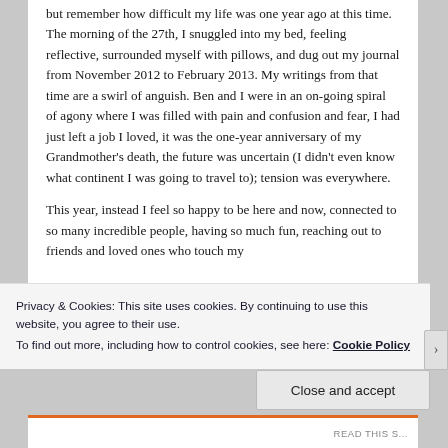but remember how difficult my life was one year ago at this time. The morning of the 27th, I snuggled into my bed, feeling reflective, surrounded myself with pillows, and dug out my journal from November 2012 to February 2013. My writings from that time are a swirl of anguish. Ben and I were in an on-going spiral of agony where I was filled with pain and confusion and fear, I had just left a job I loved, it was the one-year anniversary of my Grandmother's death, the future was uncertain (I didn't even know what continent I was going to travel to); tension was everywhere.

This year, instead I feel so happy to be here and now, connected to so many incredible people, having so much fun, reaching out to friends and loved ones who touch my
Privacy & Cookies: This site uses cookies. By continuing to use this website, you agree to their use.
To find out more, including how to control cookies, see here: Cookie Policy